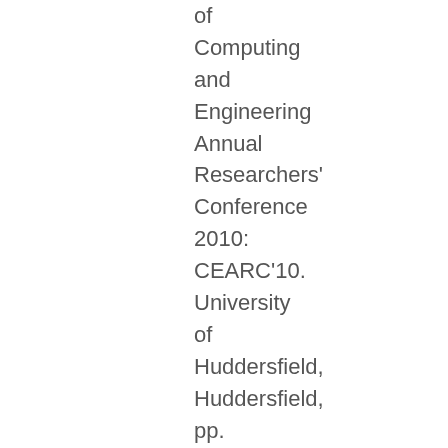of Computing and Engineering Annual Researchers' Conference 2010: CEARC'10. University of Huddersfield, Huddersfield, pp. 110-115. ISBN 9781862180932
Berberkic, Sanjin, Mo...